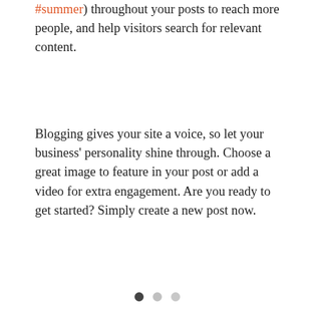#summer) throughout your posts to reach more people, and help visitors search for relevant content.
Blogging gives your site a voice, so let your business' personality shine through. Choose a great image to feature in your post or add a video for extra engagement. Are you ready to get started? Simply create a new post now.
[Figure (infographic): Social share icons row: Facebook, Twitter, LinkedIn, link/copy icon]
[Figure (infographic): Post stats row: eye/views icon with count 3, comment icon, and heart/like icon on the right]
[Figure (infographic): Pagination dots: three dots, first filled dark, second and third lighter]